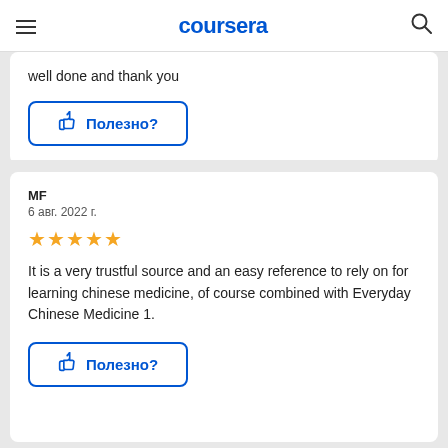coursera
well done and thank you
[Figure (screenshot): Blue outlined button with thumbs-up icon and text 'Полезно?']
MF
6 авг. 2022 г.
[Figure (other): 5 gold stars rating]
It is a very trustful source and an easy reference to rely on for learning chinese medicine, of course combined with Everyday Chinese Medicine 1.
[Figure (screenshot): Blue outlined button with thumbs-up icon and text 'Полезно?']